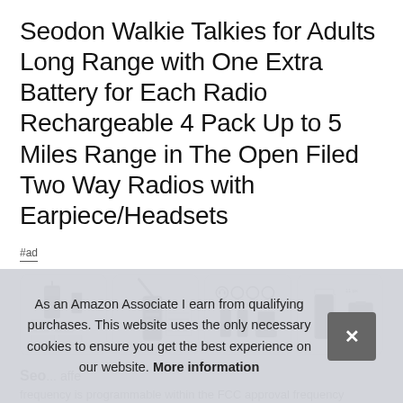Seodon Walkie Talkies for Adults Long Range with One Extra Battery for Each Radio Rechargeable 4 Pack Up to 5 Miles Range in The Open Filed Two Way Radios with Earpiece/Headsets
#ad
[Figure (photo): Four product thumbnail images of walkie talkies showing different angles and features, arranged in a horizontal row]
Seo... affe... frequency is programmable within the FCC approval frequency...
As an Amazon Associate I earn from qualifying purchases. This website uses the only necessary cookies to ensure you get the best experience on our website. More information